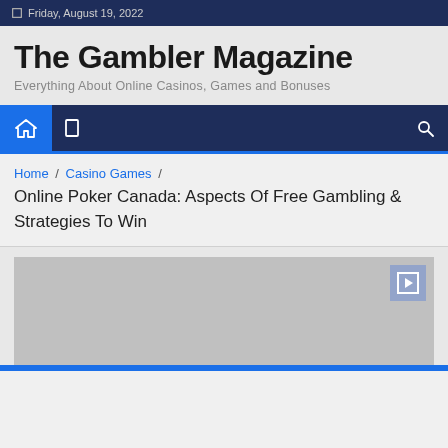Friday, August 19, 2022
The Gambler Magazine
Everything About Online Casinos, Games and Bonuses
Home / Casino Games / Online Poker Canada: Aspects Of Free Gambling & Strategies To Win
[Figure (illustration): Gray placeholder image with a play button icon in the top right corner]